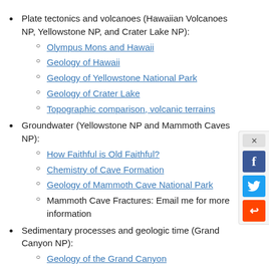Plate tectonics and volcanoes (Hawaiian Volcanoes NP, Yellowstone NP, and Crater Lake NP):
Olympus Mons and Hawaii
Geology of Hawaii
Geology of Yellowstone National Park
Geology of Crater Lake
Topographic comparison, volcanic terrains
Groundwater (Yellowstone NP and Mammoth Caves NP):
How Faithful is Old Faithful?
Chemistry of Cave Formation
Geology of Mammoth Cave National Park
Mammoth Cave Fractures: Email me for more information
Sedimentary processes and geologic time (Grand Canyon NP):
Geology of the Grand Canyon
Erosion of the Grand Canyon